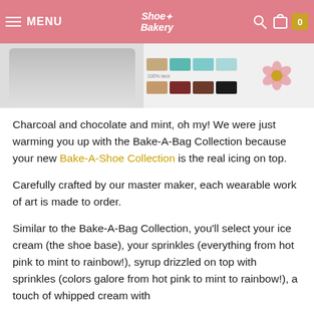MENU | Shoe Bakery | 0
[Figure (photo): Product page screenshot showing a person wearing shoes, with color swatch thumbnails and a floral icon]
Charcoal and chocolate and mint, oh my! We were just warming you up with the Bake-A-Bag Collection because your new Bake-A-Shoe Collection is the real icing on top.
Carefully crafted by our master maker, each wearable work of art is made to order.
Similar to the Bake-A-Bag Collection, you'll select your ice cream (the shoe base), your sprinkles (everything from hot pink to mint to rainbow!), syrup drizzled on top with sprinkles (colors galore from hot pink to mint to rainbow!), a touch of whipped cream with